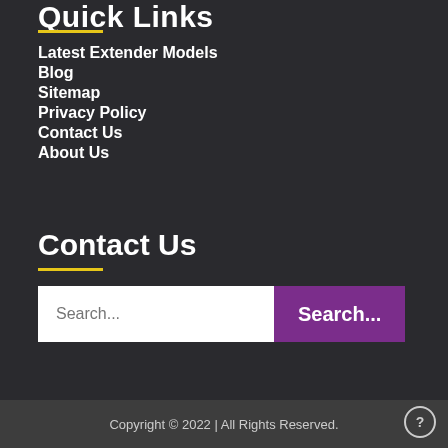Quick Links
Latest Extender Models
Blog
Sitemap
Privacy Policy
Contact Us
About Us
Contact Us
Search...
Copyright © 2022 | All Rights Reserved.